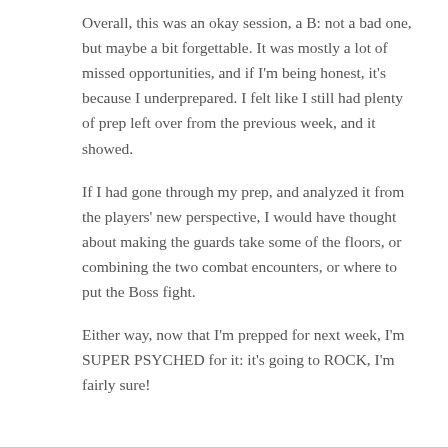Overall, this was an okay session, a B: not a bad one, but maybe a bit forgettable. It was mostly a lot of missed opportunities, and if I'm being honest, it's because I underprepared. I felt like I still had plenty of prep left over from the previous week, and it showed.
If I had gone through my prep, and analyzed it from the players' new perspective, I would have thought about making the guards take some of the floors, or combining the two combat encounters, or where to put the Boss fight.
Either way, now that I'm prepped for next week, I'm SUPER PSYCHED for it: it's going to ROCK, I'm fairly sure!